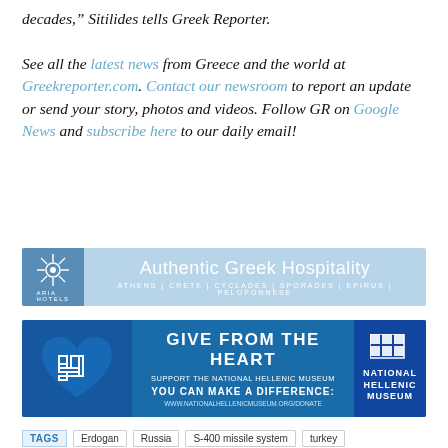decades,” Sitilides tells Greek Reporter. See all the latest news from Greece and the world at Greekreporter.com. Contact our newsroom to report an update or send your story, photos and videos. Follow GR on Google News and subscribe here to our daily email!
[Figure (infographic): Aria Hotels banner ad: Authentic Greek Hospitality. Athens | Crete | Cyclades | Sporades | Epirus | Peloponnese]
[Figure (infographic): National Hellenic Museum banner ad: Give From The Heart. Support the National Hellenic Museum. You can make a difference: www.nationalhellenicmuseum.org/donate]
TAGS   Erdogan   Russia   S-400 missile system   turkey